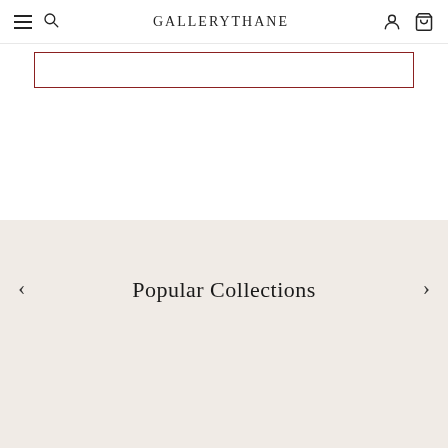GALLERYTHANE
[Figure (screenshot): Search input box with dark red/maroon border]
Popular Collections